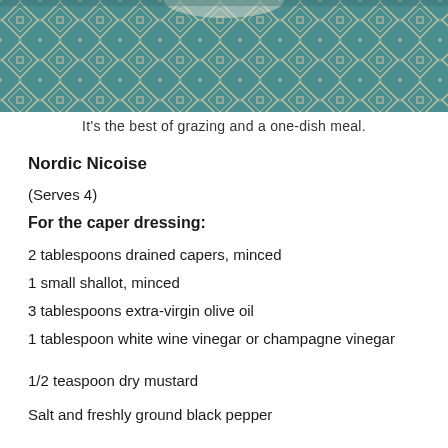[Figure (photo): Top portion of a decorative teal and cream patterned textile/tablecloth with an intricate geometric design, partially cropped at the top of the page.]
It's the best of grazing and a one-dish meal.
Nordic Nicoise
(Serves 4)
For the caper dressing:
2 tablespoons drained capers, minced
1 small shallot, minced
3 tablespoons extra-virgin olive oil
1 tablespoon white wine vinegar or champagne vinegar
1/2 teaspoon dry mustard
Salt and freshly ground black pepper